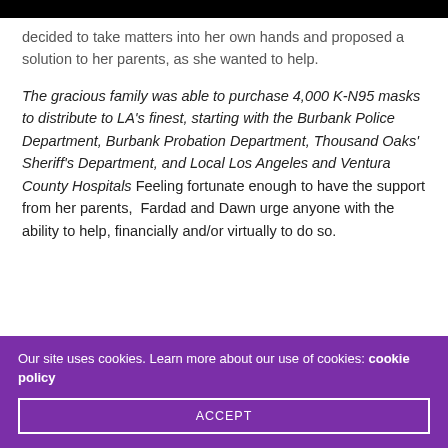decided to take matters into her own hands and proposed a solution to her parents, as she wanted to help.
The gracious family was able to purchase 4,000 K-N95 masks to distribute to LA's finest, starting with the Burbank Police Department, Burbank Probation Department, Thousand Oaks' Sheriff's Department, and Local Los Angeles and Ventura County Hospitals Feeling fortunate enough to have the support from her parents, Fardad and Dawn urge anyone with the ability to help, financially and/or virtually to do so.
Our site uses cookies. Learn more about our use of cookies: cookie policy ACCEPT